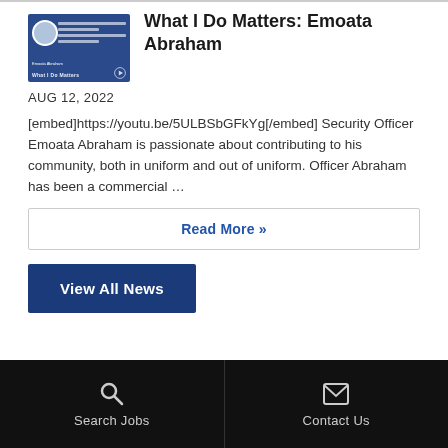[Figure (photo): Thumbnail image for 'What I Do Matters: Emoata Abraham' with blue background, circle portrait, and text overlay]
What I Do Matters: Emoata Abraham
AUG 12, 2022
[embed]https://youtu.be/5ULBSbGFkYg[/embed] Security Officer Emoata Abraham is passionate about contributing to his community, both in uniform and out of uniform. Officer Abraham has been a commercial …
Read More »
View All News
Search Jobs   Contact Us